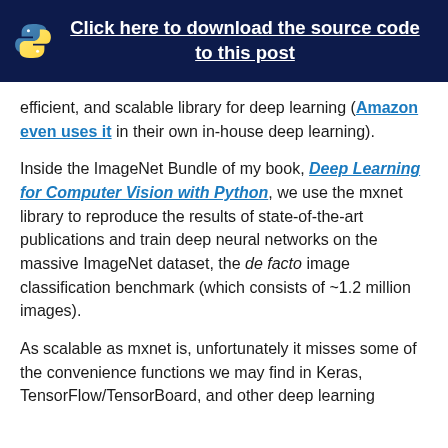[Figure (other): Dark navy header banner with Python logo and bold white underlined text: Click here to download the source code to this post]
efficient, and scalable library for deep learning (Amazon even uses it in their own in-house deep learning).
Inside the ImageNet Bundle of my book, Deep Learning for Computer Vision with Python, we use the mxnet library to reproduce the results of state-of-the-art publications and train deep neural networks on the massive ImageNet dataset, the de facto image classification benchmark (which consists of ~1.2 million images).
As scalable as mxnet is, unfortunately it misses some of the convenience functions we may find in Keras, TensorFlow/TensorBoard, and other deep learning